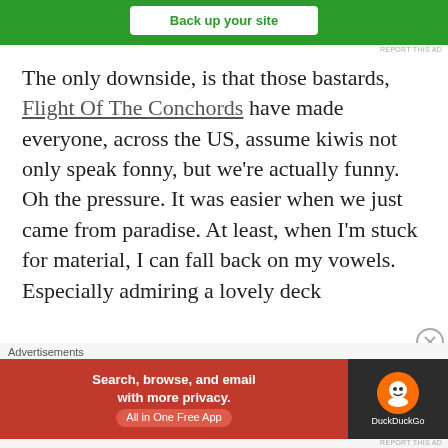[Figure (other): Green advertisement banner with 'Back up your site' button]
REPORT THIS AD
The only downside, is that those bastards, Flight Of The Conchords have made everyone, across the US, assume kiwis not only speak fonny, but we're actually funny. Oh the pressure. It was easier when we just came from paradise. At least, when I'm stuck for material, I can fall back on my vowels. Especially admiring a lovely deck
Advertisements
[Figure (other): DuckDuckGo advertisement banner: Search, browse, and email with more privacy. All in One Free App]
REPORT THIS AD